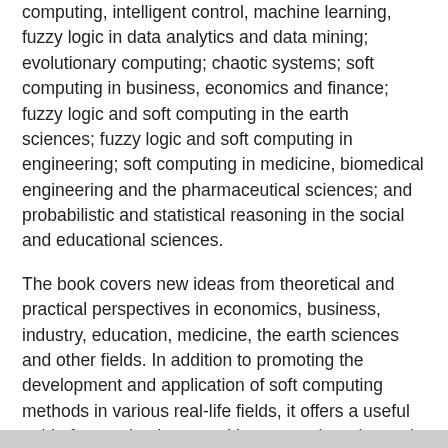computing, intelligent control, machine learning, fuzzy logic in data analytics and data mining; evolutionary computing; chaotic systems; soft computing in business, economics and finance; fuzzy logic and soft computing in the earth sciences; fuzzy logic and soft computing in engineering; soft computing in medicine, biomedical engineering and the pharmaceutical sciences; and probabilistic and statistical reasoning in the social and educational sciences.
The book covers new ideas from theoretical and practical perspectives in economics, business, industry, education, medicine, the earth sciences and other fields. In addition to promoting the development and application of soft computing methods in various real-life fields, it offers a useful guide for academics, practitioners, and graduates in fuzzy logic and soft computing fields.